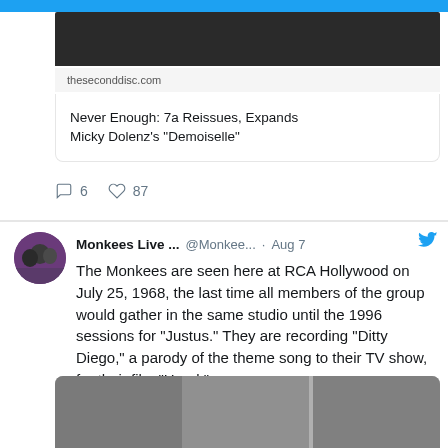[Figure (screenshot): Top image strip, partially visible, dark background]
theseconddisc.com
Never Enough: 7a Reissues, Expands Micky Dolenz's "Demoiselle"
6  87
Monkees Live ...  @Monkee...  · Aug 7
The Monkees are seen here at RCA Hollywood on July 25, 1968, the last time all members of the group would gather in the same studio until the 1996 sessions for "Justus." They are recording "Ditty Diego," a parody of the theme song to their TV show, for their film "Head."
[Figure (photo): Black and white photo of The Monkees in a recording studio, showing three panels with band members]